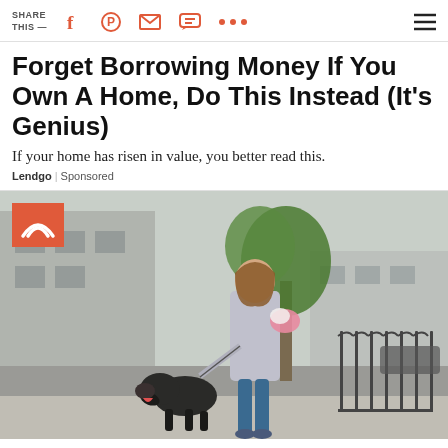SHARE THIS —
Forget Borrowing Money If You Own A Home, Do This Instead (It's Genius)
If your home has risen in value, you better read this.
Lendgo | Sponsored
[Figure (photo): Woman walking a black dog on a city sidewalk, carrying flowers, smiling. Urban street scene with trees and iron fencing. Today show logo badge in upper left corner.]
'To give you the best local, Sponsored and...